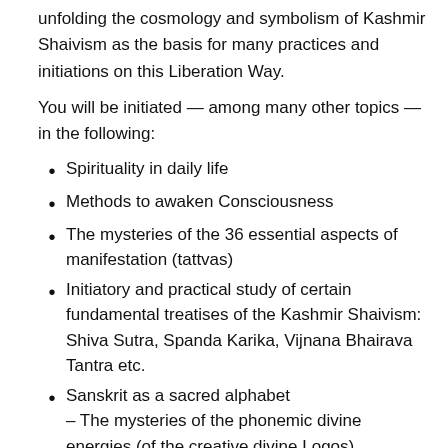unfolding the cosmology and symbolism of Kashmir Shaivism as the basis for many practices and initiations on this Liberation Way.
You will be initiated — among many other topics — in the following:
Spirituality in daily life
Methods to awaken Consciousness
The mysteries of the 36 essential aspects of manifestation (tattvas)
Initiatory and practical study of certain fundamental treatises of the Kashmir Shaivism: Shiva Sutra, Spanda Karika, Vijnana Bhairava Tantra etc.
Sanskrit as a sacred alphabet – The mysteries of the phonemic divine energies (of the creative divine Logos)
The Essential paths to spiritual liberation: – the path of the Limited Being — Anonymous